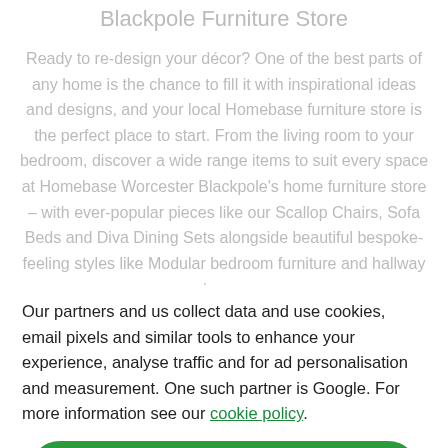Blackpole Furniture Store
Ready to re-design your décor? One of the best parts of any home is the chance to fill it with inspirational ideas and designs, and your local Homebase furniture store is the perfect place to start. From the living room to your bedroom, discover a wide range items to suit every space at Homebase Worcester Blackpole's home furniture store – with ever-popular pieces like our Scallop Chairs, Sofa Beds and Diva Dining Sets alongside beautiful bespoke-feeling styles like Modular bedroom furniture and hallway storage.
Our partners and us collect data and use cookies, email pixels and similar tools to enhance your experience, analyse traffic and for ad personalisation and measurement. One such partner is Google. For more information see our cookie policy.
Accept